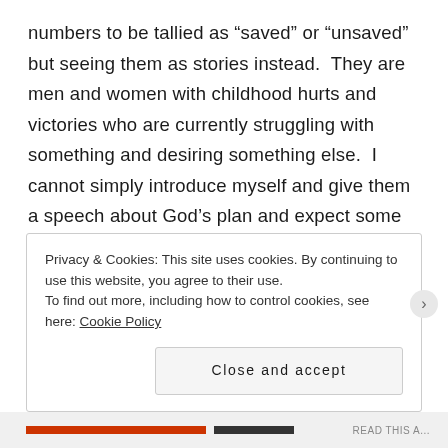numbers to be tallied as “saved” or “unsaved” but seeing them as stories instead.  They are men and women with childhood hurts and victories who are currently struggling with something and desiring something else.  I cannot simply introduce myself and give them a speech about God’s plan and expect some huge change.  I think it is far more effective to get to know a person on an individual basis and find out how knowing God will make a difference in their life specifically.
Privacy & Cookies: This site uses cookies. By continuing to use this website, you agree to their use.
To find out more, including how to control cookies, see here: Cookie Policy
Close and accept